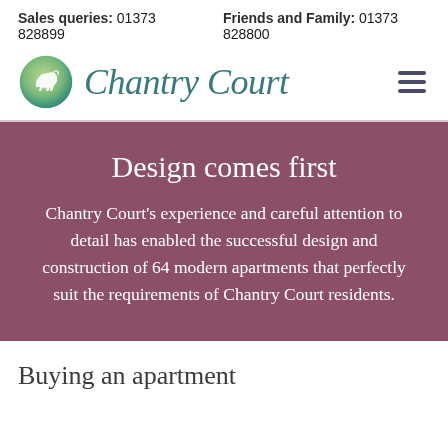Sales queries: 01373 828899   Friends and Family: 01373 828800
[Figure (logo): Chantry Court logo: circular green gradient badge with white horse silhouette, beside italic teal text 'Chantry Court']
Design comes first
Chantry Court's experience and careful attention to detail has enabled the successful design and construction of 64 modern apartments that perfectly suit the requirements of Chantry Court residents.
Buying an apartment